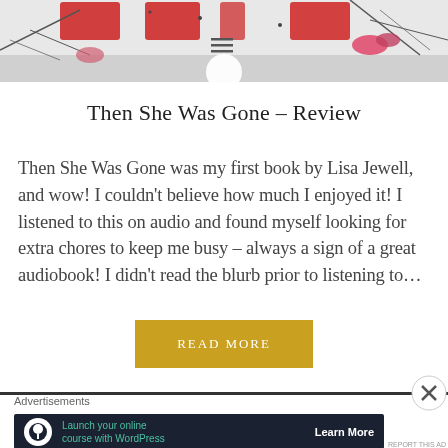[Figure (photo): Top portion of a book cover with red floral/bird imagery on a grey/white background, partially visible. A hamburger menu icon is overlaid near the center.]
Then She Was Gone – Review
Then She Was Gone was my first book by Lisa Jewell, and wow! I couldn't believe how much I enjoyed it! I listened to this on audio and found myself looking for extra chores to keep me busy – always a sign of a great audiobook! I didn't read the blurb prior to listening to…
READ MORE
Advertisements
[Figure (screenshot): Advertisement banner: dark navy background with a circular white icon showing a tree/person silhouette, teal text 'Launch your online course with WordPress', and white 'Learn More' button text.]